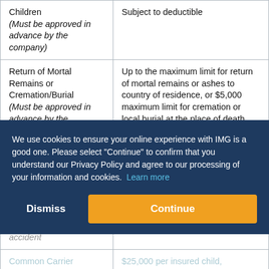| Benefit | Coverage |
| --- | --- |
| Children (Must be approved in advance by the company) | Subject to deductible |
| Return of Mortal Remains or Cremation/Burial (Must be approved in advance by the company) | Up to the maximum limit for return of mortal remains or ashes to country of residence, or $5,000 maximum limit for cremation or local burial at the place of death. Not subject to deductible. |
| Accidental Death & Dismemberment (Must be approved in advance by the company) — death must occur within 90 days of the accident | $100,000 principal sum. Not subject to deductible. |
| Common Carrier Accidental Death | $25,000 per insured child, $100,000 per insured adult, |
We use cookies to ensure your online experience with IMG is a good one. Please select "Continue" to confirm that you understand our Privacy Policy and agree to our processing of your information and cookies. Learn more